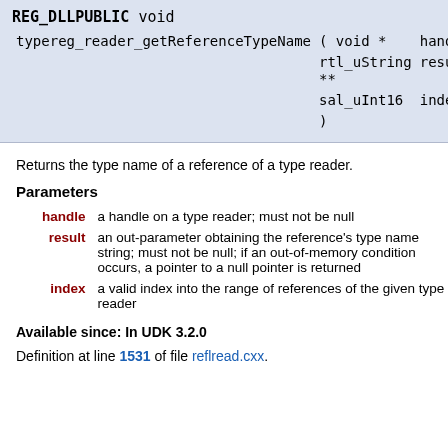| REG_DLLPUBLIC void |  |  |
| typereg_reader_getReferenceTypeName | ( void * | handle, |
|  | rtl_uString ** | result, |
|  | sal_uInt16 | index |
|  | ) |  |
Returns the type name of a reference of a type reader.
Parameters
handle — a handle on a type reader; must not be null
result — an out-parameter obtaining the reference's type name string; must not be null; if an out-of-memory condition occurs, a pointer to a null pointer is returned
index — a valid index into the range of references of the given type reader
Available since: In UDK 3.2.0
Definition at line 1531 of file reflread.cxx.